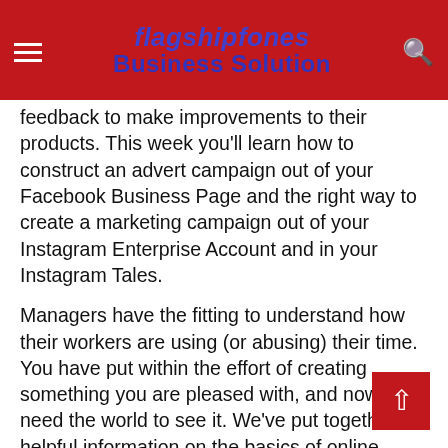flagshipfones Business Solution
feedback to make improvements to their products. This week you'll learn how to construct an advert campaign out of your Facebook Business Page and the right way to create a marketing campaign out of your Instagram Enterprise Account and in your Instagram Tales.
Managers have the fitting to understand how their workers are using (or abusing) their time. You have put within the effort of creating something you are pleased with, and now you need the world to see it. We've put together a helpful information on the basics of online advertising and why it is advisable be doing it. The Google AdWords display community is great for remarketing, and anybody can set it up.